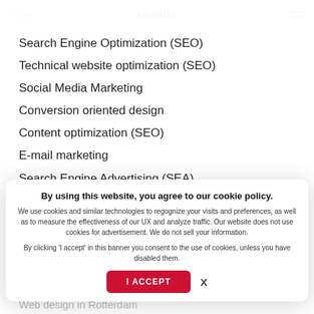EN | NL | rminds (logo)
Marketing
Search Engine Optimization (SEO)
Technical website optimization (SEO)
Social Media Marketing
Conversion oriented design
Content optimization (SEO)
E-mail marketing
Search Engine Advertising (SEA)
By using this website, you agree to our cookie policy.

We use cookies and similar technologies to regognize your visits and preferences, as well as to measure the effectiveness of our UX and analyze traffic. Our website does not use cookies for advertisement. We do not sell your information.

By clicking 'I accept' in this banner you consent to the use of cookies, unless you have disabled them.

I ACCEPT   X
Web design in Rotterdam